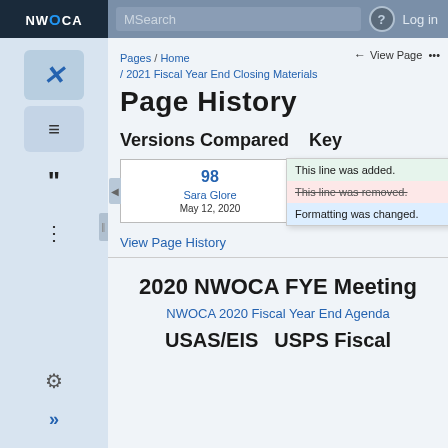NWOCA | MSearch | Log in
Pages / Home
View Page ...
/ 2021 Fiscal Year End Closing Materials
Page History
Versions Compared   Key
| Version | Author | Date |
| --- | --- | --- |
| 98 | Sara Glore | May 12, 2020 |
| 99 | Sara G... | May 12, 2020 |
This line was added.
This line was removed.
Formatting was changed.
View Page History
2020 NWOCA FYE Meeting
NWOCA 2020 Fiscal Year End Agenda
USAS/EIS        USPS Fiscal